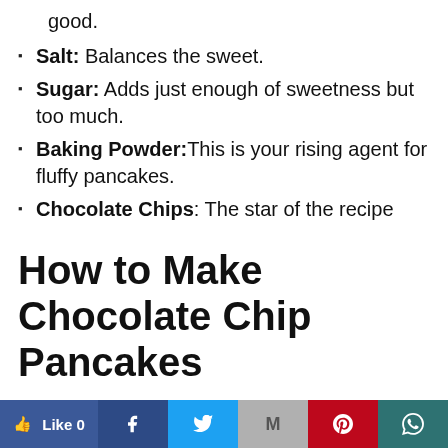good.
Salt: Balances the sweet.
Sugar: Adds just enough of sweetness but too much.
Baking Powder: This is your rising agent for fluffy pancakes.
Chocolate Chips: The star of the recipe
How to Make Chocolate Chip Pancakes
Mix it up and you are good to go! These are light and fluffy pancakes that are a family